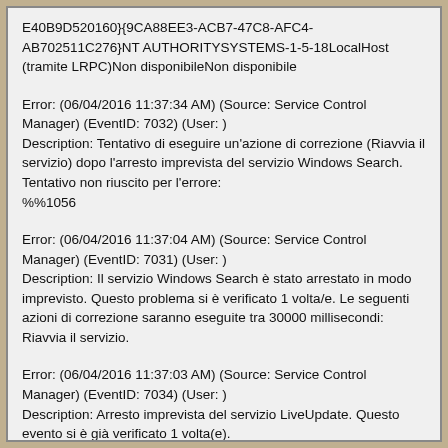E40B9D520160}{9CA88EE3-ACB7-47C8-AFC4-AB702511C276}NT AUTHORITYSYSTEMS-1-5-18LocalHost (tramite LRPC)Non disponibileNon disponibile
Error: (06/04/2016 11:37:34 AM) (Source: Service Control Manager) (EventID: 7032) (User: )
Description: Tentativo di eseguire un'azione di correzione (Riavvia il servizio) dopo l'arresto imprevista del servizio Windows Search. Tentativo non riuscito per l'errore:
%%1056
Error: (06/04/2016 11:37:04 AM) (Source: Service Control Manager) (EventID: 7031) (User: )
Description: Il servizio Windows Search è stato arrestato in modo imprevisto. Questo problema si è verificato 1 volta/e. Le seguenti azioni di correzione saranno eseguite tra 30000 millisecondi: Riavvia il servizio.
Error: (06/04/2016 11:37:03 AM) (Source: Service Control Manager) (EventID: 7034) (User: )
Description: Arresto imprevista del servizio LiveUpdate. Questo evento si è già verificato 1 volta(e).
Error: (06/04/2016 11:37:03 AM) (Source: Service Control